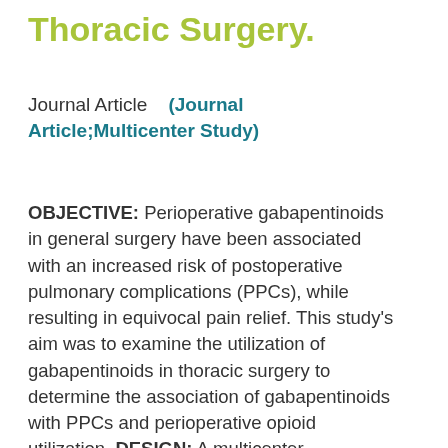Thoracic Surgery.
Journal Article    (Journal Article;Multicenter Study)
OBJECTIVE: Perioperative gabapentinoids in general surgery have been associated with an increased risk of postoperative pulmonary complications (PPCs), while resulting in equivocal pain relief. This study's aim was to examine the utilization of gabapentinoids in thoracic surgery to determine the association of gabapentinoids with PPCs and perioperative opioid utilization. DESIGN: A multicenter retrospective cohort study. SETTING: Hospitals in the Premier Healthcare Database from 2012 to 2018. PARTICIPANTS: A total of 70,336 patients undergoing